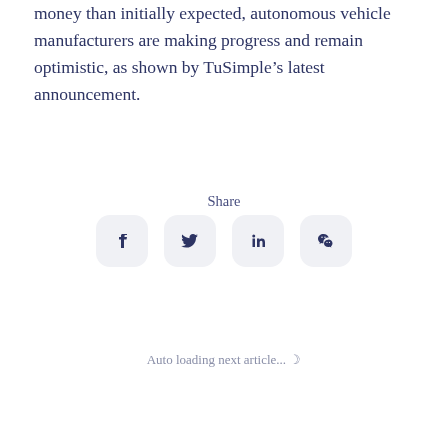money than initially expected, autonomous vehicle manufacturers are making progress and remain optimistic, as shown by TuSimple’s latest announcement.
Share
[Figure (other): Social sharing icons: Facebook, Twitter, LinkedIn, WeChat]
Auto loading next article...